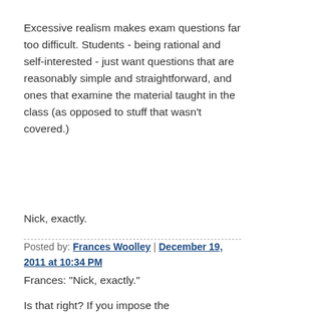Excessive realism makes exam questions far too difficult. Students - being rational and self-interested - just want questions that are reasonably simple and straightforward, and ones that examine the material taught in the class (as opposed to stuff that wasn't covered.)
Nick, exactly.
Posted by: Frances Woolley | December 19, 2011 at 10:34 PM
Frances: "Nick, exactly."
Is that right? If you impose the